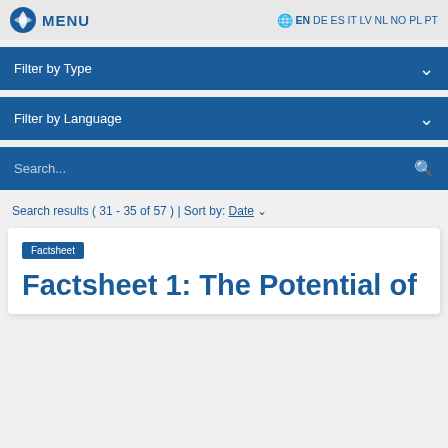MENU | EN DE ES IT LV NL NO PL PT
Filter by Type
Filter by Language
Search...
Search results ( 31 - 35 of 57 ) | Sort by: Date
Factsheet
Factsheet 1: The Potential of